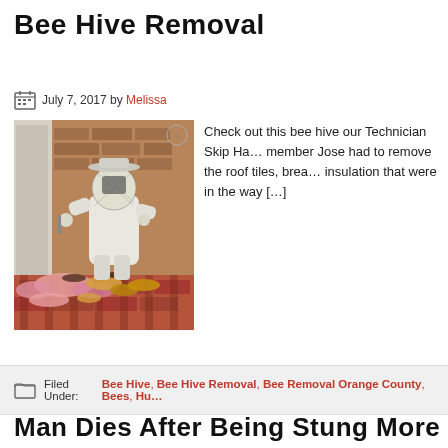Bee Hive Removal
July 7, 2017 by Melissa
[Figure (photo): A beekeeper in full protective suit crouching near a doorway with removed honeycomb and pink insulation scattered on a brick patio]
Check out this bee hive our Technician Skip Ha... member Jose had to remove the roof tiles, brea... insulation that were in the way [...]
Filed Under: Bee Hive, Bee Hive Removal, Bee Removal Orange County, Bees, Hu...
Man Dies After Being Stung More Than 1,000 T...